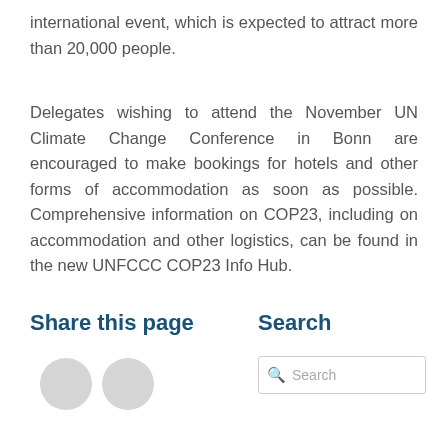international event, which is expected to attract more than 20,000 people.
Delegates wishing to attend the November UN Climate Change Conference in Bonn are encouraged to make bookings for hotels and other forms of accommodation as soon as possible. Comprehensive information on COP23, including on accommodation and other logistics, can be found in the new UNFCCC COP23 Info Hub.
Share this page
Search
[Figure (other): Two circular social share buttons (light grey)]
[Figure (other): Search input box with magnifying glass icon and placeholder text 'Search']